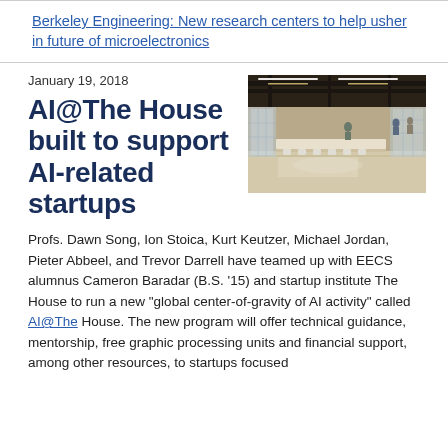Berkeley Engineering: New research centers to help usher in future of microelectronics
January 19, 2018
AI@The House built to support AI-related startups
[Figure (photo): Interior of a modern open-plan office/collaborative workspace with glass walls, industrial ceiling with exposed ducts and track lighting, long tables, and people working in background.]
Profs. Dawn Song, Ion Stoica, Kurt Keutzer, Michael Jordan, Pieter Abbeel, and Trevor Darrell have teamed up with EECS alumnus Cameron Baradar (B.S. '15) and startup institute The House to run a new "global center-of-gravity of AI activity" called AI@The House. The new program will offer technical guidance, mentorship, free graphic processing units and financial support, among other resources, to startups focused on AI. Their first priority is to expand a cohort of startups...